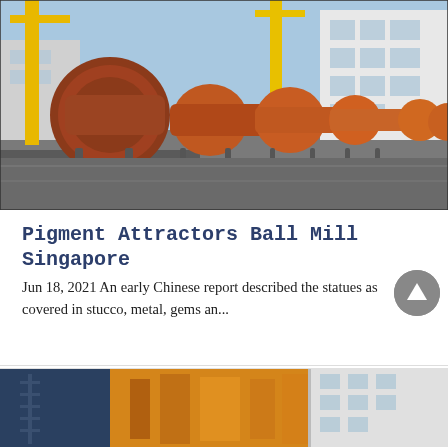[Figure (photo): Industrial yard with multiple large orange/rust-colored ball mill cylinders lined up on a concrete surface, yellow crane structures visible, white industrial buildings in the background, blue sky.]
Pigment Attractors Ball Mill Singapore
Jun 18, 2021 An early Chinese report described the statues as covered in stucco, metal, gems an...
[Figure (photo): Partial view of industrial equipment - yellow machinery and white building facade, bottom portion of page.]